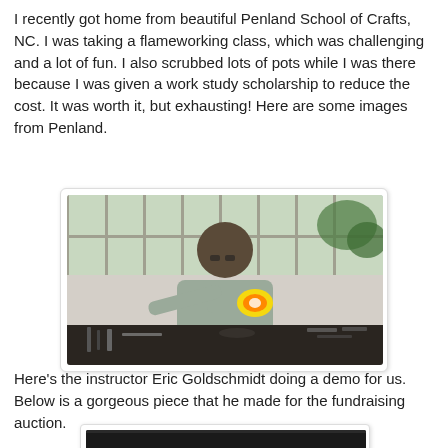I recently got home from beautiful Penland School of Crafts, NC. I was taking a flameworking class, which was challenging and a lot of fun. I also scrubbed lots of pots while I was there because I was given a work study scholarship to reduce the cost. It was worth it, but exhausting! Here are some images from Penland.
[Figure (photo): Photo of instructor Eric Goldschmidt doing a flameworking demonstration at a workbench, with bright flame visible, inside a studio with large windows and a cinder block wall. Tools and materials are spread across the dark workbench surface.]
Here's the instructor Eric Goldschmidt doing a demo for us. Below is a gorgeous piece that he made for the fundraising auction.
[Figure (photo): Partial view of a second photo, dark background, showing the top portion of a piece made by Eric Goldschmidt for a fundraising auction.]